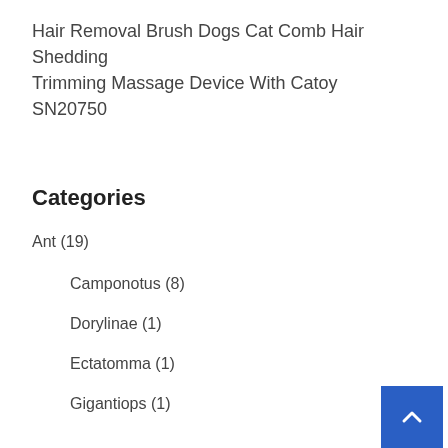Hair Removal Brush Dogs Cat Comb Hair Shedding Trimming Massage Device With Catoy SN20750
Categories
Ant (19)
Camponotus (8)
Dorylinae (1)
Ectatomma (1)
Gigantiops (1)
Manica (1)
Messor (2)